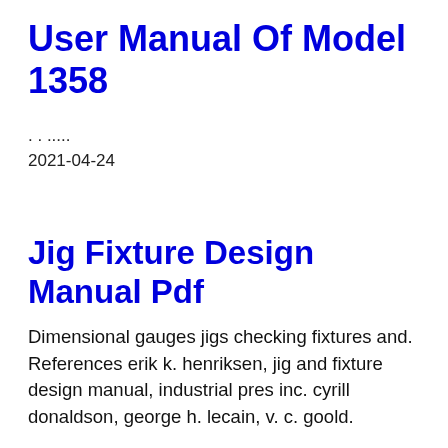User Manual Of Model 1358
. . ....
2021-04-24
Jig Fixture Design Manual Pdf
Dimensional gauges jigs checking fixtures and. References erik k. henriksen, jig and fixture design manual, industrial pres inc. cyrill donaldson, george h. lecain, v. c. goold.